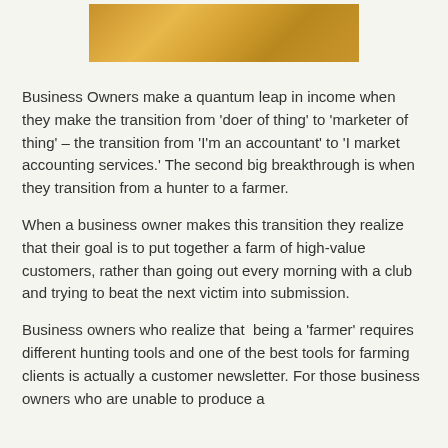[Figure (photo): Golden/amber textured background image at top of page]
Business Owners make a quantum leap in income when they make the transition from ‘doer of thing’ to ‘marketer of thing’ – the transition from ‘I’m an accountant’ to ‘I market accounting services.’ The second big breakthrough is when they transition from a hunter to a farmer.
When a business owner makes this transition they realize that their goal is to put together a farm of high-value customers, rather than going out every morning with a club and trying to beat the next victim into submission.
Business owners who realize that  being a ‘farmer’ requires different hunting tools and one of the best tools for farming clients is actually a customer newsletter. For those business owners who are unable to produce a